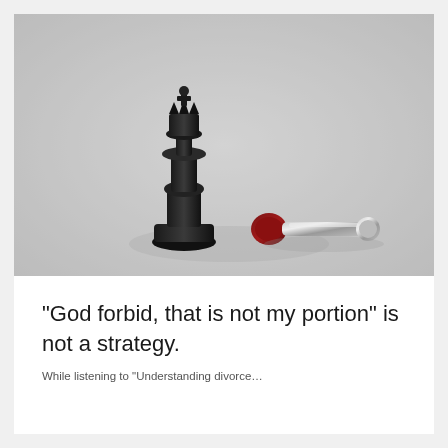[Figure (photo): A black chess king piece standing upright next to a silver/chrome chess piece lying on its side on a light gray background, suggesting defeat or checkmate.]
“God forbid, that is not my portion” is not a strategy.
While listening to “Understanding divorce…